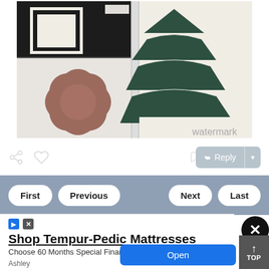[Figure (photo): Photo of quilt patterns on white fabric, showing a black and white geometric pattern top-left, a brown star/flower appliqué bottom-left, and dark green triangular tree-like shapes on right side]
Reply
First  Previous  Next  Last
Shop Tempur-Pedic Mattresses
Choose 60 Months Special Financing Today
Ashley
Open
TOP